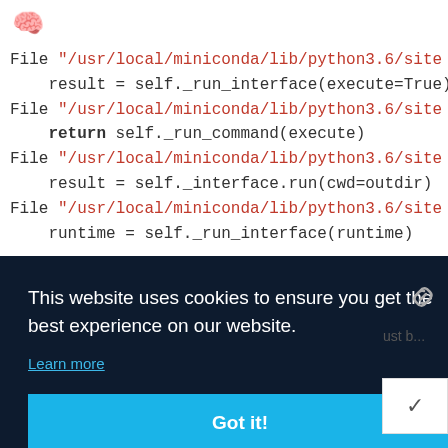[Figure (screenshot): Brain emoji icon in blue at top left]
File "/usr/local/miniconda/lib/python3.6/site
    result = self._run_interface(execute=True)
File "/usr/local/miniconda/lib/python3.6/site
    return self._run_command(execute)
File "/usr/local/miniconda/lib/python3.6/site
    result = self._interface.run(cwd=outdir)
File "/usr/local/miniconda/lib/python3.6/site
    runtime = self._run_interface(runtime)
This website uses cookies to ensure you get the best experience on our website.
Learn more
Got it!
BronsonHarry